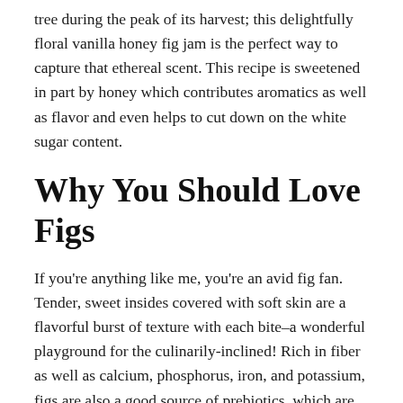tree during the peak of its harvest; this delightfully floral vanilla honey fig jam is the perfect way to capture that ethereal scent. This recipe is sweetened in part by honey which contributes aromatics as well as flavor and even helps to cut down on the white sugar content.
Why You Should Love Figs
If you're anything like me, you're an avid fig fan. Tender, sweet insides covered with soft skin are a flavorful burst of texture with each bite–a wonderful playground for the culinarily-inclined! Rich in fiber as well as calcium, phosphorus, iron, and potassium, figs are also a good source of prebiotics, which are essential for maintaining gut health. Though I think there is nothing better than digging into a perfectly ripe fig, they fortunately are fairly forgiving with different methods of processing and preserving, such as drying, making fig newtons from